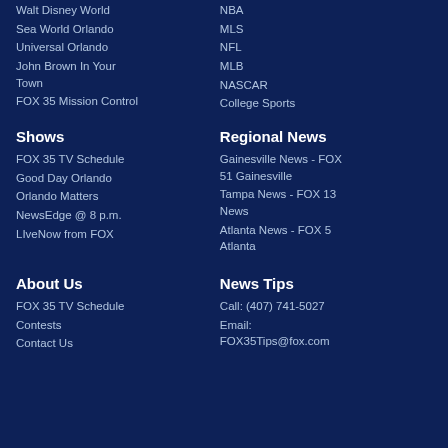Walt Disney World
Sea World Orlando
Universal Orlando
John Brown In Your Town
FOX 35 Mission Control
NBA
MLS
NFL
MLB
NASCAR
College Sports
Shows
FOX 35 TV Schedule
Good Day Orlando
Orlando Matters
NewsEdge @ 8 p.m.
LIveNow from FOX
Regional News
Gainesville News - FOX 51 Gainesville
Tampa News - FOX 13 News
Atlanta News - FOX 5 Atlanta
About Us
FOX 35 TV Schedule
Contests
Contact Us
News Tips
Call: (407) 741-5027
Email: FOX35Tips@fox.com